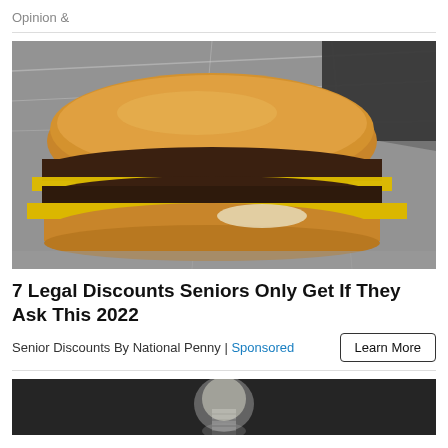Opinion &
[Figure (photo): A cheeseburger with double patties and yellow cheese, wrapped in foil, photographed from above.]
7 Legal Discounts Seniors Only Get If They Ask This 2022
Senior Discounts By National Penny | Sponsored
[Figure (photo): Bottom portion of a second advertisement image showing a light bulb on a dark background.]